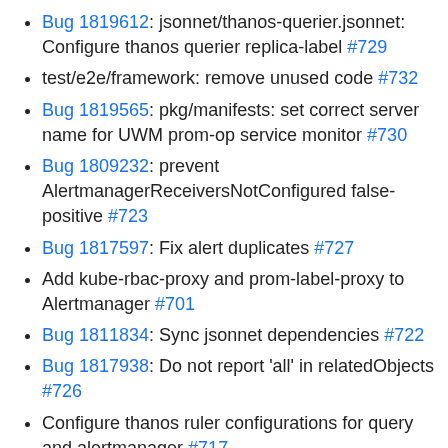Bug 1819612: jsonnet/thanos-querier.jsonnet: Configure thanos querier replica-label #729
test/e2e/framework: remove unused code #732
Bug 1819565: pkg/manifests: set correct server name for UWM prom-op service monitor #730
Bug 1809232: prevent AlertmanagerReceiversNotConfigured false-positive #723
Bug 1817597: Fix alert duplicates #727
Add kube-rbac-proxy and prom-label-proxy to Alertmanager #701
Bug 1811834: Sync jsonnet dependencies #722
Bug 1817938: Do not report 'all' in relatedObjects #726
Configure thanos ruler configurations for query and alertmanager #717
hack/merge_cluster_roles.py: fix deprecation warnings #724
update prometheus-operator to v0.38.0 #720